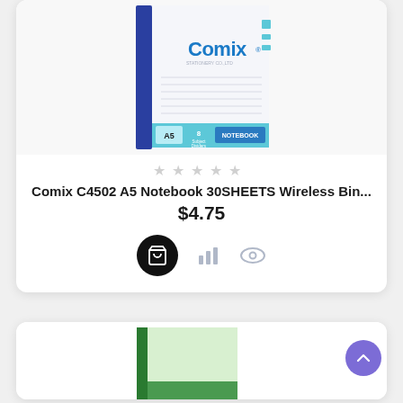[Figure (photo): Comix C4502 A5 Notebook product photo — white notebook with blue spine and blue Comix logo, labeled A5 8 sheets, shown against white background]
★ ★ ★ ★ ★ (empty stars, rating)
Comix C4502 A5 Notebook 30SHEETS Wireless Bin...
$4.75
[Figure (photo): Second product card partially visible — green notebook product image]